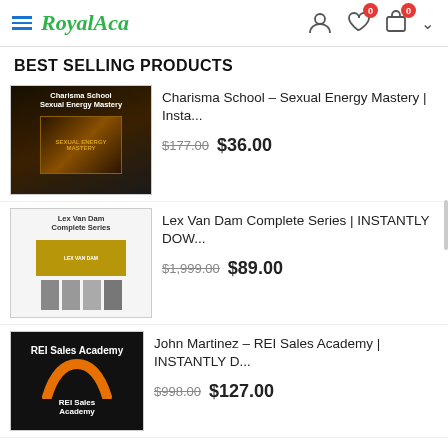RoyalAca
BEST SELLING PRODUCTS
[Figure (screenshot): Product thumbnail for Charisma School Sexual Energy Mastery]
Charisma School – Sexual Energy Mastery | Insta...
$177.00 $36.00
[Figure (screenshot): Product thumbnail for Lex Van Dam Complete Series]
Lex Van Dam Complete Series | INSTANTLY DOW...
$1,999.00 $89.00
[Figure (screenshot): Product thumbnail for REI Sales Academy]
John Martinez – REI Sales Academy | INSTANTLY D...
$998.00 $127.00
LATEST PRODUCTS
[Figure (screenshot): Product thumbnail for Robben Ford: Back to the Blues]
[Pre Order] Robben Ford: Back to the Blues